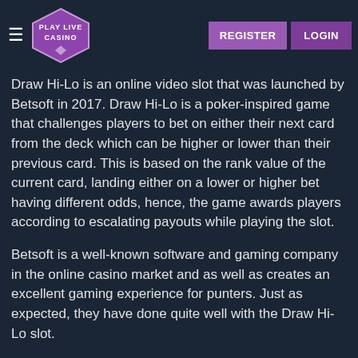Play Live Casino — REGISTER LOGIN
Draw Hi-Lo is an online video slot that was launched by Betsoft in 2017. Draw Hi-Lo is a poker-inspired game that challenges players to bet on either their next card from the deck which can be higher or lower than their previous card. This is based on the rank value of the current card, landing either on a lower or higher bet having different odds, hence, the game awards players according to escalating payouts while playing the slot.
Betsoft is a well-known software and gaming company in the online casino market and as well as creates an excellent gaming experience for punters. Just as expected, they have done quite well with the Draw Hi-Lo slot.
You will find this slot to play on the Playlive casino alongside other selections of classic, thrilling, and exciting gaming slots that will keep you at the edge of your seat.
You can also get to try out the demo version of this